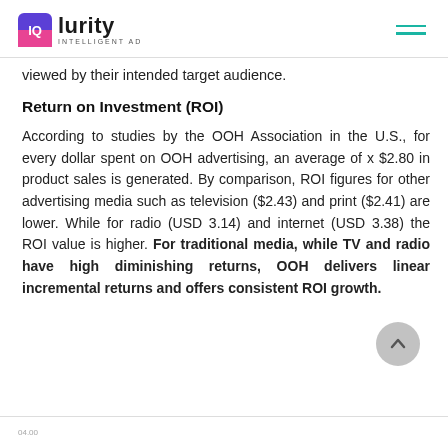IQ Lurity — Intelligent AD
viewed by their intended target audience.
Return on Investment (ROI)
According to studies by the OOH Association in the U.S., for every dollar spent on OOH advertising, an average of x $2.80 in product sales is generated. By comparison, ROI figures for other advertising media such as television ($2.43) and print ($2.41) are lower. While for radio (USD 3.14) and internet (USD 3.38) the ROI value is higher. For traditional media, while TV and radio have high diminishing returns, OOH delivers linear incremental returns and offers consistent ROI growth.